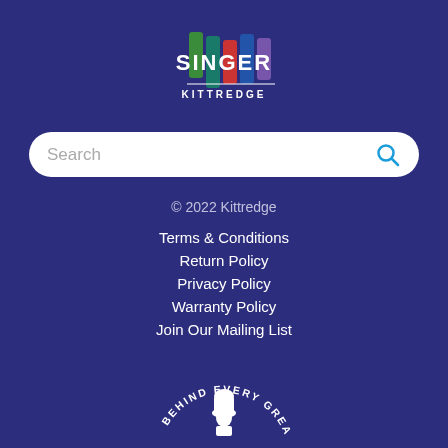[Figure (logo): Singer Kittredge logo with colorful vertical bars and white SINGER text, with KITTREDGE below]
[Figure (screenshot): Search bar with Search placeholder text and blue magnifying glass icon]
© 2022 Kittredge
Terms & Conditions
Return Policy
Privacy Policy
Warranty Policy
Join Our Mailing List
[Figure (logo): BEHIND EVERY GREAT CHEF circular text badge with chef illustration in the center, white on dark blue background]